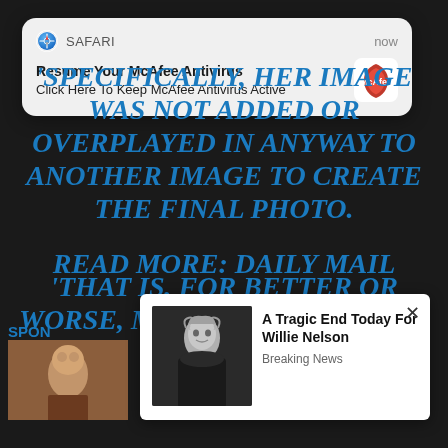[Figure (screenshot): Safari browser notification popup: 'Resume Your McAfee Antivirus / Click Here To Keep McAfee Antivirus Active' with McAfee logo, timestamped 'now']
'SPECIFICALLY, HER IMAGE WAS NOT ADDED OR OVERPLAYED IN ANYWAY TO ANOTHER IMAGE TO CREATE THE FINAL PHOTO.
'THAT IS, FOR BETTER OR WORSE, MALIA OBAMA IN THE PHOTO.'
READ MORE: DAILY MAIL
SPON
[Figure (photo): Small thumbnail of a person's face (partial, bottom left)]
[Figure (screenshot): Ad popup with photo of elderly man (Willie Nelson) and text 'A Tragic End Today For Willie Nelson / Breaking News']